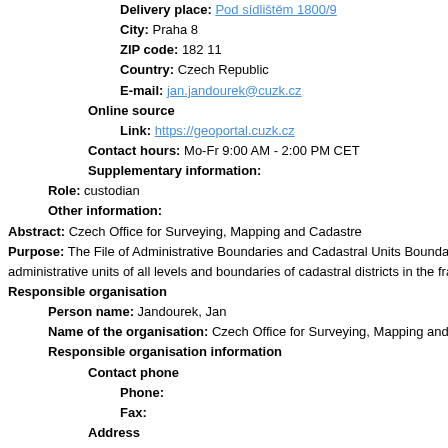Delivery place: Pod sídlištěm 1800/9
City: Praha 8
ZIP code: 182 11
Country: Czech Republic
E-mail: jan.jandourek@cuzk.cz
Online source
Link: https://geoportal.cuzk.cz
Contact hours: Mo-Fr 9:00 AM - 2:00 PM CET
Supplementary information:
Role: custodian
Other information:
Abstract: Czech Office for Surveying, Mapping and Cadastre
Purpose: The File of Administrative Boundaries and Cadastral Units Bounda administrative units of all levels and boundaries of cadastral districts in the fra
Responsible organisation
Person name: Jandourek, Jan
Name of the organisation: Czech Office for Surveying, Mapping and Ca
Responsible organisation information
Contact phone
Phone:
Fax:
Address
Delivery place: Pod sídlištěm 1800/9
City: Praha 8
ZIP code: 182 11
Country: Czech Republic